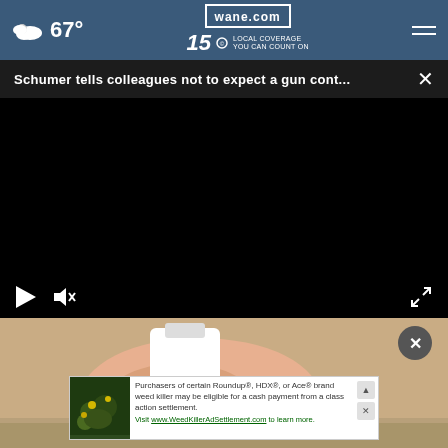67° wane.com 15 LOCAL COVERAGE YOU CAN COUNT ON
Schumer tells colleagues not to expect a gun cont...
[Figure (screenshot): Black video player area with play button, mute button, and fullscreen button controls at the bottom]
[Figure (photo): Hand holding a white bottle/container over a sink, bottom portion partially visible]
Purchasers of certain Roundup®, HDX®, or Ace® brand weed killer may be eligible for a cash payment from a class action settlement. Visit www.WeedKillerAdSettlement.com to learn more.